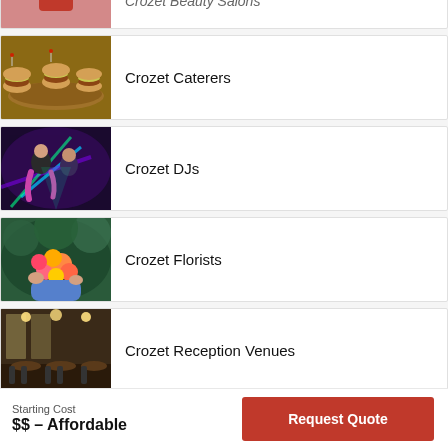[Figure (photo): Partially visible card showing a woman in red dress (beauty salon)]
Crozet Caterers
Crozet DJs
Crozet Florists
Crozet Reception Venues
Starting Cost
$$ – Affordable
Request Quote